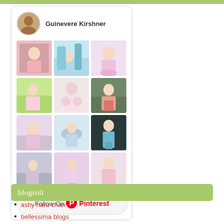[Figure (screenshot): Pinterest profile widget for Guinevere Kirshner showing profile photo, name, grid of fashion/avatar images, and Follow On Pinterest button]
blogroll
ashy haru chan
bellessima blogs